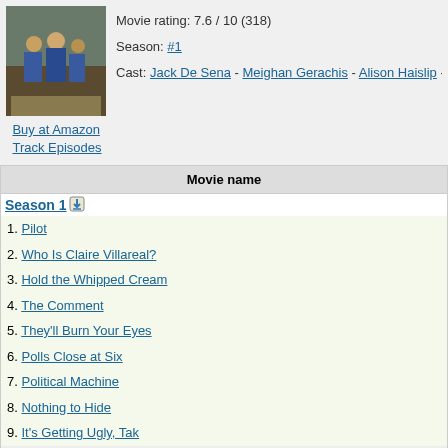[Figure (photo): Group of people standing outdoors, some wearing blue lanyards/badges]
Buy at Amazon
Track Episodes
Movie rating: 7.6 / 10 (318)
Season: #1
Cast: Jack De Sena - Meighan Gerachis - Alison Haislip -
| Movie name |
| --- |
| Season 1 |
| 1. Pilot |
| 2. Who Is Claire Villareal? |
| 3. Hold the Whipped Cream |
| 4. The Comment |
| 5. They'll Burn Your Eyes |
| 6. Polls Close at Six |
| 7. Political Machine |
| 8. Nothing to Hide |
| 9. It's Getting Ugly, Tak |
| 10. Flashback |
| 11. Nothing About Chile |
| 12. He's Better Than Television |
| 13. Did You Win? |
Support us